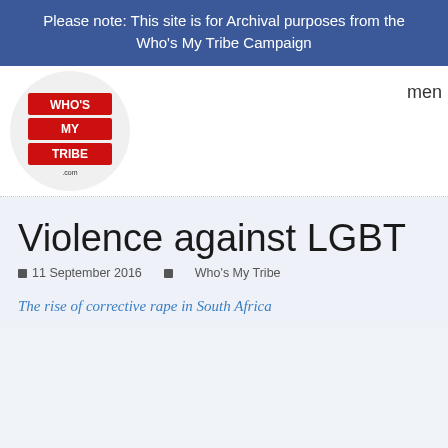Please note: This site is for Archival purposes from the Who's My Tribe Campaign
[Figure (logo): Who's My Tribe .com logo — red and white text on red background in a white circle]
men
Violence against LGBT
11 September 2016   Who's My Tribe
The rise of corrective rape in South Africa